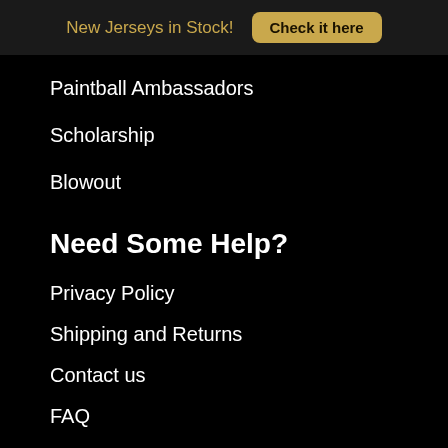New Jerseys in Stock! Check it here
Paintball Ambassadors
Scholarship
Blowout
Need Some Help?
Privacy Policy
Shipping and Returns
Contact us
FAQ
Gift Card
Social